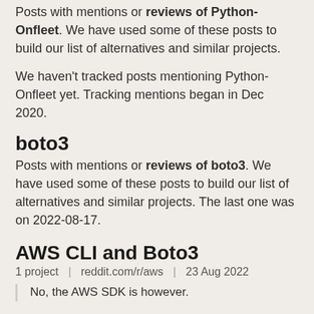Posts with mentions or reviews of Python-Onfleet. We have used some of these posts to build our list of alternatives and similar projects.
We haven't tracked posts mentioning Python-Onfleet yet. Tracking mentions began in Dec 2020.
boto3
Posts with mentions or reviews of boto3. We have used some of these posts to build our list of alternatives and similar projects. The last one was on 2022-08-17.
AWS CLI and Boto3
1 project   |   reddit.com/r/aws   |   23 Aug 2022
No, the AWS SDK is however.